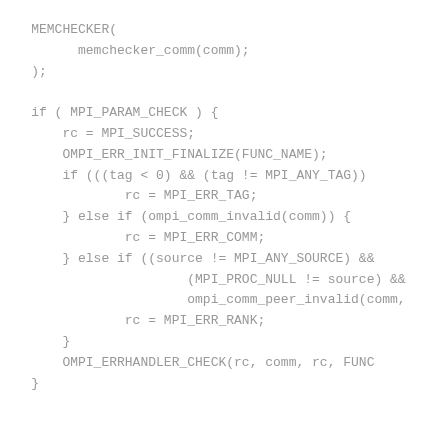MEMCHECKER(
          memchecker_comm(comm);
    );

    if ( MPI_PARAM_CHECK ) {
        rc = MPI_SUCCESS;
        OMPI_ERR_INIT_FINALIZE(FUNC_NAME);
        if (((tag < 0) && (tag != MPI_ANY_TAG))
                rc = MPI_ERR_TAG;
        } else if (ompi_comm_invalid(comm)) {
                rc = MPI_ERR_COMM;
        } else if ((source != MPI_ANY_SOURCE) &&
                        (MPI_PROC_NULL != source) &&
                        ompi_comm_peer_invalid(comm,
                rc = MPI_ERR_RANK;
        }
        OMPI_ERRHANDLER_CHECK(rc, comm, rc, FUNC
    }